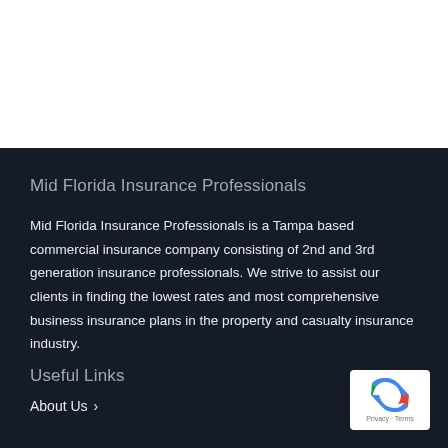Mid Florida Insurance Professionals
Mid Florida Insurance Professionals is a Tampa based commercial insurance company consisting of 2nd and 3rd generation insurance professionals. We strive to assist our clients in finding the lowest rates and most comprehensive business insurance plans in the property and casualty insurance industry.
Useful Links
About Us ›
[Figure (logo): Google reCAPTCHA badge with recycling-style arrow logo and 'Privacy · Terms' text]